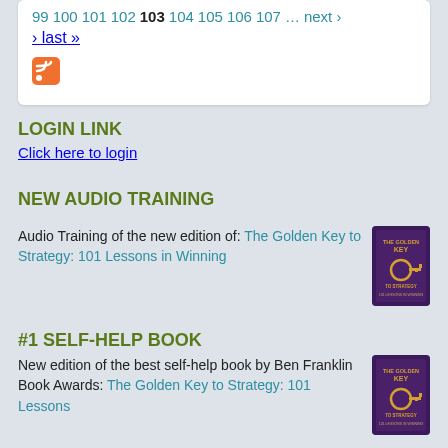99 100 101 102 103 104 105 106 107 … next › last »
[Figure (logo): RSS feed icon, orange square with white signal waves]
LOGIN LINK
Click here to login
NEW AUDIO TRAINING
Audio Training of the new edition of: The Golden Key to Strategy: 101 Lessons in Winning
[Figure (photo): Book cover for The Golden Key to Strategy, dark purple background with gold key image]
#1 SELF-HELP BOOK
New edition of the best self-help book by Ben Franklin Book Awards: The Golden Key to Strategy: 101 Lessons
[Figure (photo): Book cover for The Golden Key showing gold key on dark background]